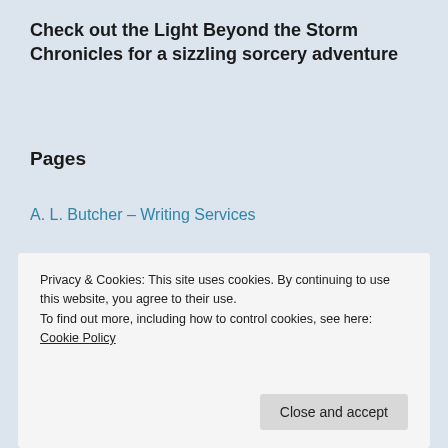Check out the Light Beyond the Storm Chronicles for a sizzling sorcery adventure
Pages
A. L. Butcher – Writing Services
About
About A. L. Butcher – Fantasy Author, Poet, Author Promotion
Alexa Lynsey
Privacy & Cookies: This site uses cookies. By continuing to use this website, you agree to their use.
To find out more, including how to control cookies, see here: Cookie Policy